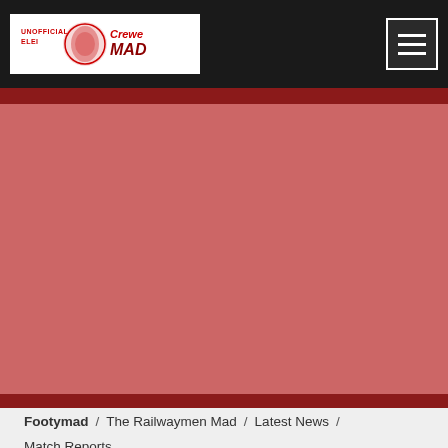Unofficial ELEI Crewe MAD
[Figure (screenshot): Large reddish-pink banner/hero image area (image failed to load, showing pinkish-red placeholder background)]
Footymad / The Railwaymen Mad / Latest News / Match Reports